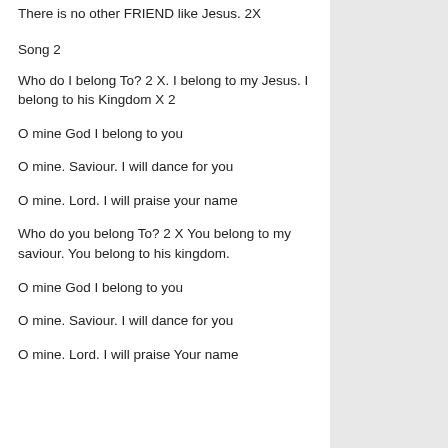There is no other FRIEND like Jesus. 2X
Song 2
Who do I belong To? 2 X. I belong to my Jesus. I belong to his Kingdom X 2
O mine God I belong to you
O mine. Saviour. I will dance for you
O mine. Lord. I will praise your name
Who do you belong To? 2 X You belong to my saviour. You belong to his kingdom.
O mine God I belong to you
O mine. Saviour. I will dance for you
O mine. Lord. I will praise Your name